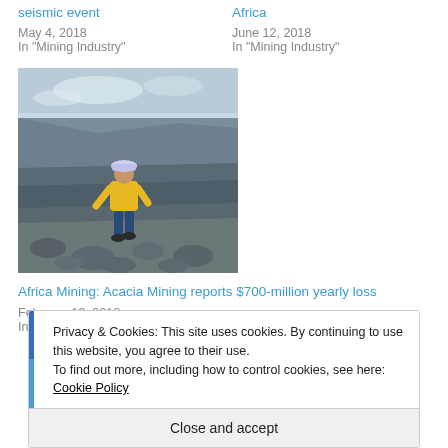seismic event
May 4, 2018
In "Mining Industry"
Africa
June 12, 2018
In "Mining Industry"
[Figure (photo): A miner in a yellow jacket and hard hat standing on rocky terrain in an open-pit mine]
Africa Mining: Acacia Mining reports $700-million yearly loss
February 13, 2018
In "Mining Industry"
Privacy & Cookies: This site uses cookies. By continuing to use this website, you agree to their use.
To find out more, including how to control cookies, see here:
Cookie Policy
Close and accept